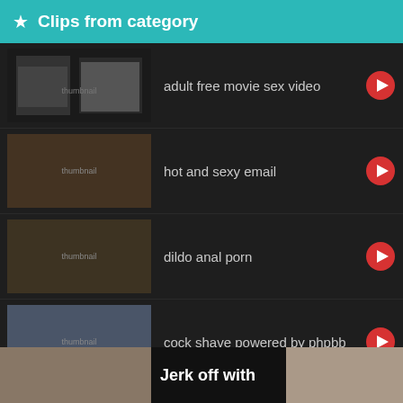★ Clips from category
adult free movie sex video
hot and sexy email
dildo anal porn
cock shave powered by phpbb
hardcore dude
[Figure (screenshot): Bottom strip showing video thumbnails and text 'Jerk off with']